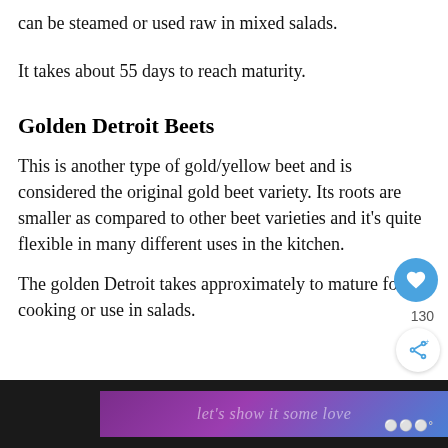can be steamed or used raw in mixed salads.
It takes about 55 days to reach maturity.
Golden Detroit Beets
This is another type of gold/yellow beet and is considered the original gold beet variety. Its roots are smaller as compared to other beet varieties and it's quite flexible in many different uses in the kitchen.
The golden Detroit takes approximately [text cut off by widget] to mature for cooking or use in salads.
[Figure (screenshot): Bottom advertisement bar with purple gradient background showing text 'let's show it some love' and a logo/watermark on the right side on a dark background]